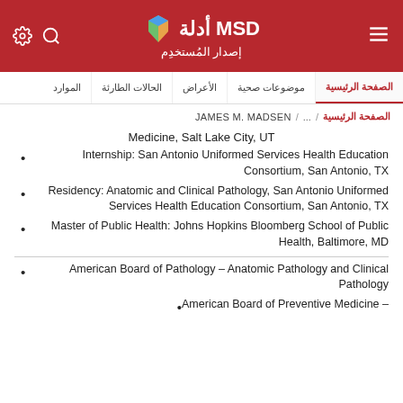MSD أدلة إصدار المُستخدِم
الصفحة الرئيسية / ... / JAMES M. MADSEN
Medicine, Salt Lake City, UT
Internship: San Antonio Uniformed Services Health Education Consortium, San Antonio, TX
Residency: Anatomic and Clinical Pathology, San Antonio Uniformed Services Health Education Consortium, San Antonio, TX
Master of Public Health: Johns Hopkins Bloomberg School of Public Health, Baltimore, MD
American Board of Pathology – Anatomic Pathology and Clinical Pathology
American Board of Preventive Medicine –